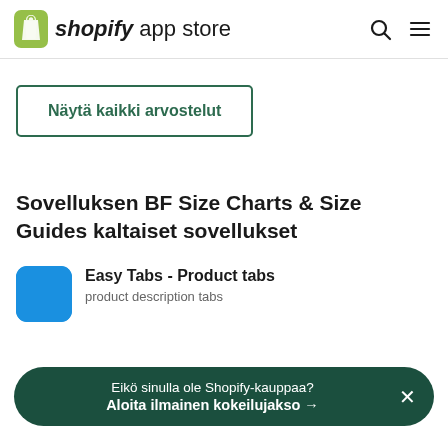shopify app store
Näytä kaikki arvostelut
Sovelluksen BF Size Charts & Size Guides kaltaiset sovellukset
Easy Tabs - Product tabs
product description tabs
Eikö sinulla ole Shopify-kauppaa?
Aloita ilmainen kokeilujakso →